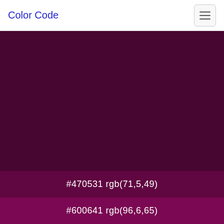Color Code
[Figure (other): Large dark maroon/purple color swatch filling most of the page, representing color #470531 rgb(71,5,49)]
#470531 rgb(71,5,49)
#600641 rgb(96,6,65)